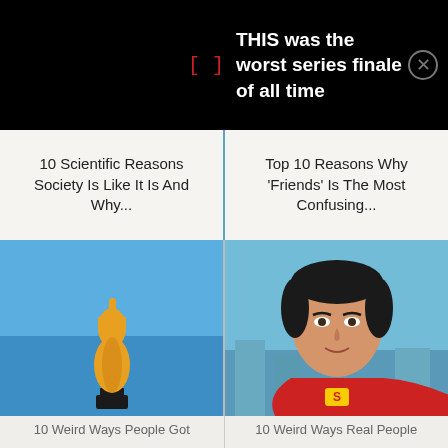[] THIS was the worst series finale of all time
10 Scientific Reasons Society Is Like It Is And Why...
Top 10 Reasons Why 'Friends' Is The Most Confusing...
[Figure (photo): Oscar award statue with middle finger raised, against blue sky background]
[Figure (photo): Superman (Christopher Reeve) portrait in costume against city background]
10 Weird Ways People Got
10 Weird Ways Real People